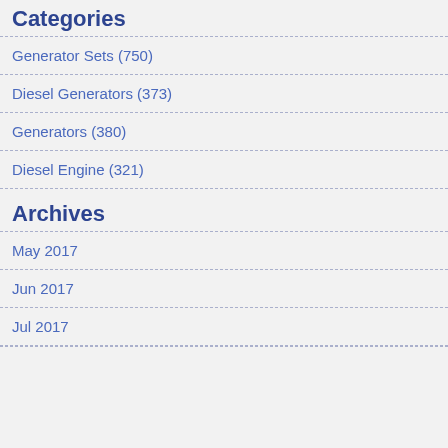Categories
Generator Sets (750)
Diesel Generators (373)
Generators (380)
Diesel Engine (321)
Archives
May 2017
Jun 2017
Jul 2017